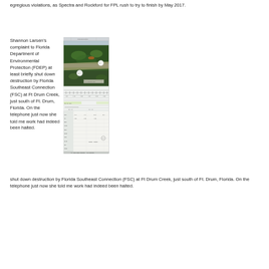egregious violations, as Spectra and Rockford for FPL rush to try to finish by May 2017.
Shannon Larsen's complaint to Florida Department of Environmental Protection (FDEP) at least briefly shut down destruction by Florida Southeast Connection (FSC) at Ft Drum Creek, just south of Ft. Drum, Florida. On the telephone just now she told me work had indeed been halted.
[Figure (engineering-diagram): Aerial/satellite image combined with engineering plan drawing showing a pipeline corridor through forested wetlands near Ft. Drum Creek, with survey markers and technical annotations.]
Right now Shannon is in Okeechobee City starting a rally to